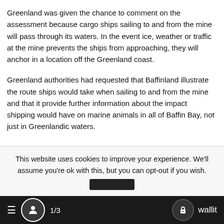Greenland was given the chance to comment on the assessment because cargo ships sailing to and from the mine will pass through its waters. In the event ice, weather or traffic at the mine prevents the ships from approaching, they will anchor in a location off the Greenland coast.
Greenland authorities had requested that Baffinland illustrate the route ships would take when sailing to and from the mine and that it provide further information about the impact shipping would have on marine animals in all of Baffin Bay, not just in Greenlandic waters.
This website uses cookies to improve your experience. We'll assume you're ok with this, but you can opt-out if you wish.
1/3  wallit